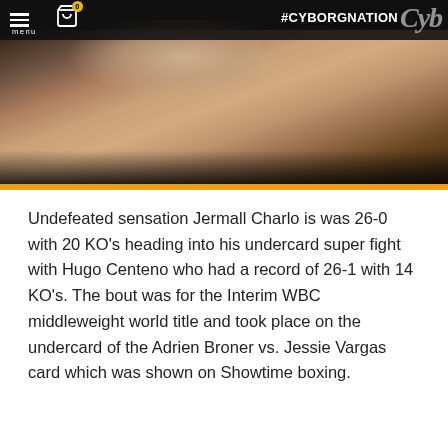[Figure (photo): Screenshot of a boxing/sports website showing a video still of a fighter knocked down or on the canvas. The top bar has a menu icon, shopping cart icon with badge '0', and a '#CYBORGNATION' hashtag overlay. A yellow/orange divider bar runs along the bottom of the image.]
Undefeated sensation Jermall Charlo is was 26-0 with 20 KO's heading into his undercard super fight with Hugo Centeno who had a record of 26-1 with 14 KO's. The bout was for the Interim WBC middleweight world title and took place on the undercard of the Adrien Broner vs. Jessie Vargas card which was shown on Showtime boxing.